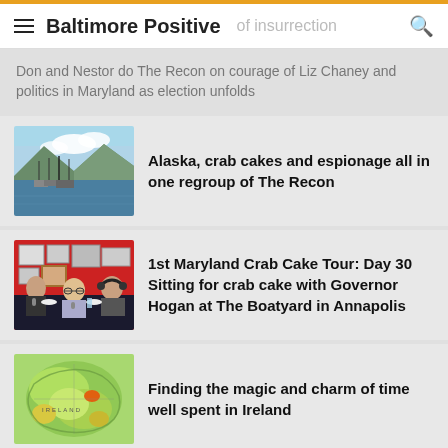Baltimore Positive
Don and Nestor do The Recon on courage of Liz Chaney and politics in Maryland as election unfolds
Alaska, crab cakes and espionage all in one regroup of The Recon
[Figure (photo): Harbor with boats and mountains in the background, Alaska scene]
1st Maryland Crab Cake Tour: Day 30 Sitting for crab cake with Governor Hogan at The Boatyard in Annapolis
[Figure (photo): Three men sitting at a table with microphones, podcast recording session]
Finding the magic and charm of time well spent in Ireland
[Figure (photo): Colorful topographic map of Ireland with green and yellow terrain]